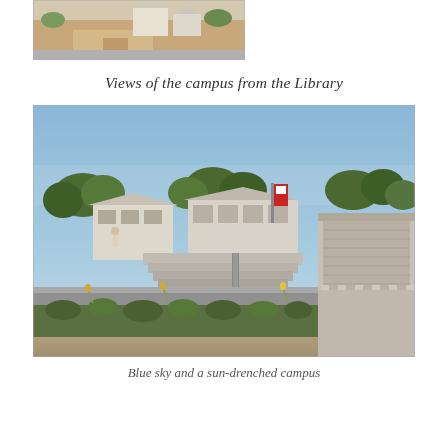[Figure (photo): Aerial view of a residential neighborhood with dirt roads and houses under construction or in a sparse suburban setting, viewed from above]
Views of the campus from the Library
[Figure (photo): Ground-level view of a sunny college campus showing an outdoor amphitheater/seating area with concrete steps, landscaped planter boxes with green plants, trees, and campus buildings in the background under a blue sky]
Blue sky and a sun-drenched campus